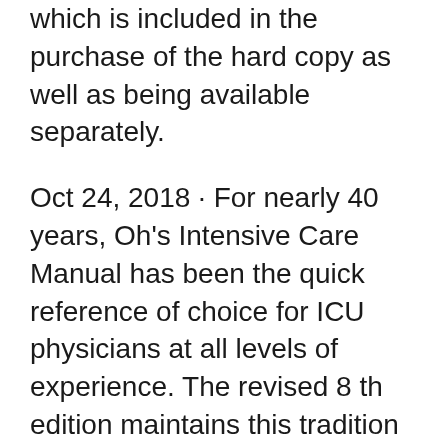which is included in the purchase of the hard copy as well as being available separately.
Oct 24, 2018 · For nearly 40 years, Oh's Intensive Care Manual has been the quick reference of choice for ICU physicians at all levels of experience. The revised 8 th edition maintains this tradition of excellence, providing fast access to practical information needed every day in today's intensive care unit.This bestselling manual covers all aspects of intensive care in sufficient detail for daily practice Nov 24, 2013 · New Release: Marino's the ICU Book (4th Edition) with companion e-Book November 24, 2013 Dalhousie